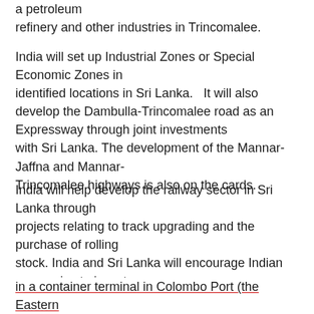a petroleum refinery and other industries in Trincomalee.
India will set up Industrial Zones or Special Economic Zones in identified locations in Sri Lanka.   It will also develop the Dambulla-Trincomalee road as an Expressway through joint investments with Sri Lanka. The development of the Mannar-Jaffna and Mannar-Trincomalee highways is also on the cards.
India will help develop the railway sector in Sri Lanka through projects relating to track upgrading and the purchase of rolling stock. India and Sri Lanka will encourage Indian companies to invest in a container terminal in Colombo Port (the Eastern